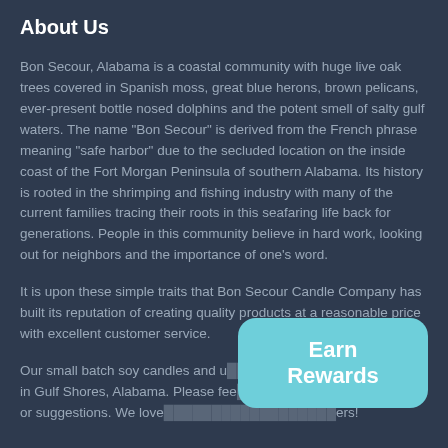About Us
Bon Secour, Alabama is a coastal community with huge live oak trees covered in Spanish moss, great blue herons, brown pelicans, ever-present bottle nosed dolphins and the potent smell of salty gulf waters. The name "Bon Secour" is derived from the French phrase meaning "safe harbor" due to the secluded location on the inside coast of the Fort Morgan Peninsula of southern Alabama. Its history is rooted in the shrimping and fishing industry with many of the current families tracing their roots in this seafaring life back for generations. People in this community believe in hard work, looking out for neighbors and the importance of one's word.
It is upon these simple traits that Bon Secour Candle Company has built its reputation of creating quality products at a reasonable price with excellent customer service.
Our small batch soy candles and u[...] ed in Gulf Shores, Alabama. Please fee[...] questions or suggestions. We love[...]ers!
[Figure (other): Earn Rewards button overlay in teal/cyan color with rounded corners]